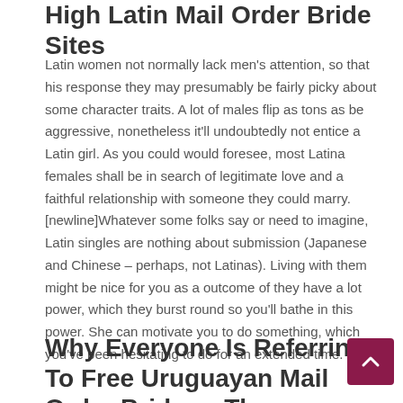High Latin Mail Order Bride Sites
Latin women not normally lack men's attention, so that his response they may presumably be fairly picky about some character traits. A lot of males flip as tons as be aggressive, nonetheless it'll undoubtedly not entice a Latin girl. As you could would foresee, most Latina females shall be in search of legitimate love and a faithful relationship with someone they could marry. [newline]Whatever some folks say or need to imagine, Latin singles are nothing about submission (Japanese and Chinese – perhaps, not Latinas). Living with them might be nice for you as a outcome of they have a lot power, which they burst round so you'll bathe in this power. She can motivate you to do something, which you've been hesitating to do for an extended time.
Why Everyone Is Referring To Free Uruguayan Mail Order Brides…The